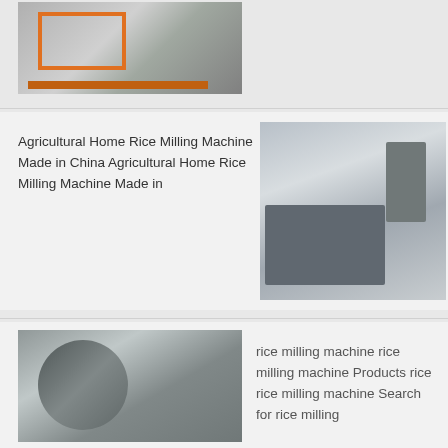[Figure (photo): Industrial machine with orange metal frame structure on a factory floor with black mats]
[Figure (photo): Large industrial vibrating screen or sieving machine in gray metal, inside a warehouse]
Agricultural Home Rice Milling Machine Made in China Agricultural Home Rice Milling Machine Made in
[Figure (photo): Large industrial wheel/drum machine on a truck or transport vehicle, dark gray color]
rice milling machine rice milling machine Products rice rice milling machine Search for rice milling